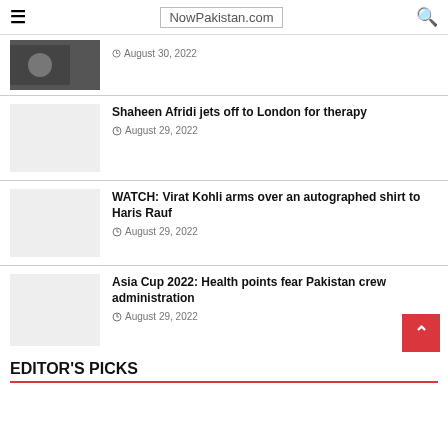NowPakistan.com
August 30, 2022
Shaheen Afridi jets off to London for therapy
August 29, 2022
WATCH: Virat Kohli arms over an autographed shirt to Haris Rauf
August 29, 2022
Asia Cup 2022: Health points fear Pakistan crew administration
August 29, 2022
EDITOR'S PICKS